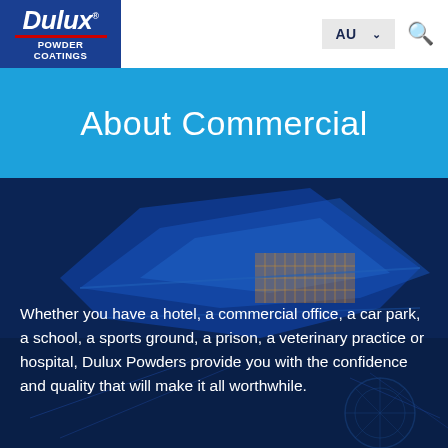[Figure (logo): Dulux Powder Coatings logo — white italic bold text on navy blue background with red horizontal rule and white subtitle text]
About Commercial
[Figure (photo): Dark blue background photo of a commercial building with angular blue roof panels and structural framework details]
Whether you have a hotel, a commercial office, a car park, a school, a sports ground, a prison, a veterinary practice or hospital, Dulux Powders provide you with the confidence and quality that will make it all worthwhile.